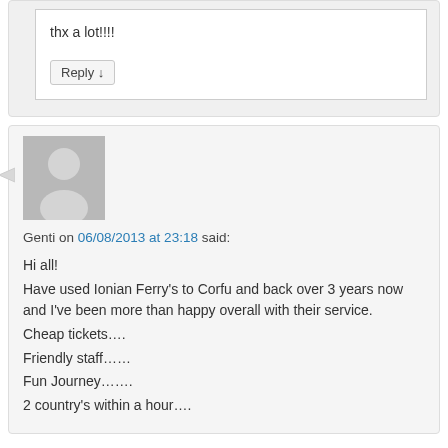thx a lot!!!!
Reply ↓
Genti on 06/08/2013 at 23:18 said:
Hi all!
Have used Ionian Ferry's to Corfu and back over 3 years now and I've been more than happy overall with their service.
Cheap tickets….
Friendly staff……
Fun Journey…….
2 country's within a hour….